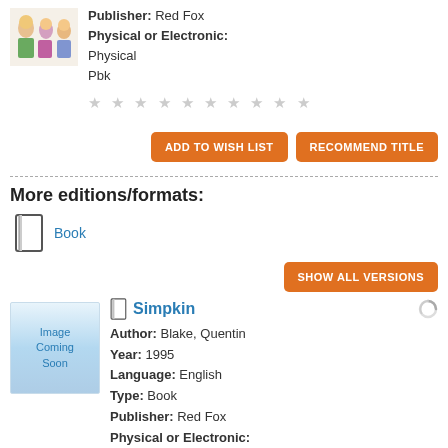[Figure (illustration): Book cover thumbnail showing cartoon characters]
Publisher: Red Fox
Physical or Electronic:
Physical
Pbk
★ ★ ★ ★ ★ ★ ★ ★ ★ ★
ADD TO WISH LIST   RECOMMEND TITLE
More editions/formats:
Book
SHOW ALL VERSIONS
Simpkin
[Figure (illustration): Image Coming Soon placeholder with blue wave background]
Author: Blake, Quentin
Year: 1995
Language: English
Type: Book
Publisher: Red Fox
Physical or Electronic: